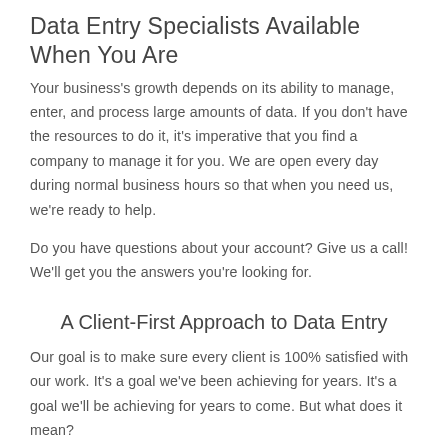Data Entry Specialists Available When You Are
Your business's growth depends on its ability to manage, enter, and process large amounts of data. If you don't have the resources to do it, it's imperative that you find a company to manage it for you. We are open every day during normal business hours so that when you need us, we're ready to help.
Do you have questions about your account? Give us a call! We'll get you the answers you're looking for.
A Client-First Approach to Data Entry
Our goal is to make sure every client is 100% satisfied with our work. It's a goal we've been achieving for years. It's a goal we'll be achieving for years to come. But what does it mean?
It means we offer a premium service without the premium price...